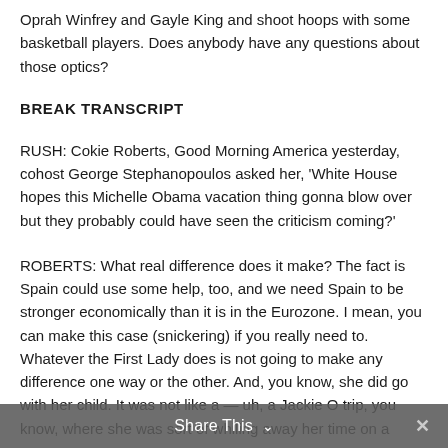Oprah Winfrey and Gayle King and shoot hoops with some basketball players. Does anybody have any questions about those optics?
BREAK TRANSCRIPT
RUSH: Cokie Roberts, Good Morning America yesterday, cohost George Stephanopoulos asked her, 'White House hopes this Michelle Obama vacation thing gonna blow over but they probably could have seen the criticism coming?'
ROBERTS: What real difference does it make? The fact is Spain could use some help, too, and we need Spain to be stronger economically than it is in the Eurozone. I mean, you can make this case (snickering) if you really need to. Whatever the First Lady does is not going to make any difference one way or the other. And, you know, she did go with her child. It was not like a — uh, a Jackie O trip, you know, where she was sort of whiling away her time on a
Share This ∨  ×